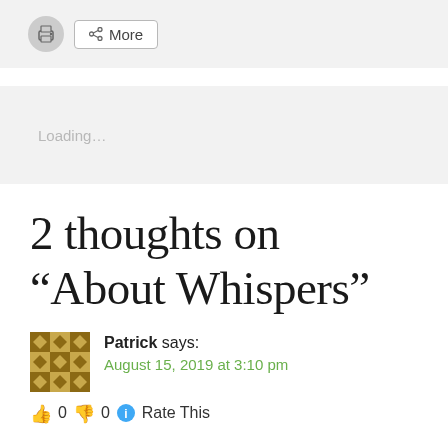[Figure (screenshot): Top toolbar with print icon and More button on a light grey background]
[Figure (screenshot): Loading placeholder box with 'Loading...' text on light grey background]
2 thoughts on “About Whispers”
Patrick says:
August 15, 2019 at 3:10 pm
👍 0 👎 0 ℹ️ Rate This